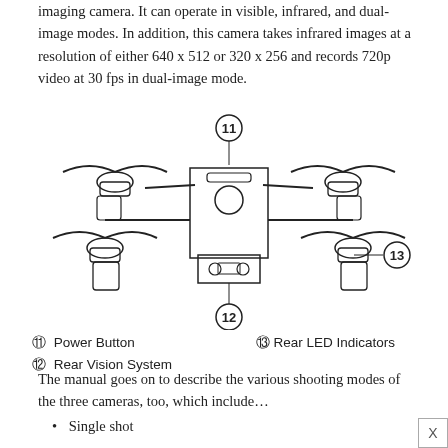imaging camera. It can operate in visible, infrared, and dual-image modes. In addition, this camera takes infrared images at a resolution of either 640 x 512 or 320 x 256 and records 720p video at 30 fps in dual-image mode.
[Figure (engineering-diagram): Front-view diagram of a quadcopter drone with numbered callouts: 11 (Power Button, top center), 12 (Rear Vision System, bottom center), 13 (Rear LED Indicators, right side)]
11 Power Button   13 Rear LED Indicators
12 Rear Vision System
The manual goes on to describe the various shooting modes of the three cameras, too, which include…
Single shot